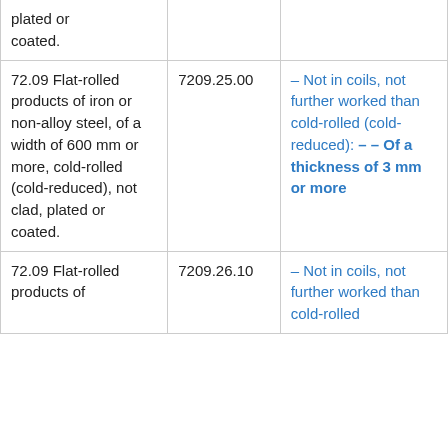| Description | Commodity Code | Coverage |
| --- | --- | --- |
| plated or coated. |  |  |
| 72.09 Flat-rolled products of iron or non-alloy steel, of a width of 600 mm or more, cold-rolled (cold-reduced), not clad, plated or coated. | 7209.25.00 | – Not in coils, not further worked than cold-rolled (cold-reduced): – – Of a thickness of 3 mm or more |
| 72.09 Flat-rolled products of | 7209.26.10 | – Not in coils, not further worked than cold-rolled... |